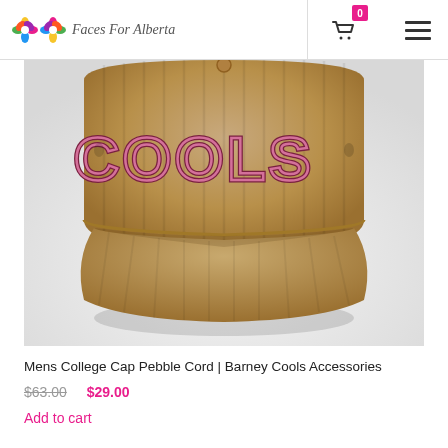Faces For Alberta — navigation header with cart (0) and menu
[Figure (photo): Close-up photo of a tan/camel corduroy college cap with 'COOLS' embroidered in pink/maroon letters on the front panel, brim visible, on a white/grey background.]
Mens College Cap Pebble Cord | Barney Cools Accessories
$63.00 $29.00
Add to cart